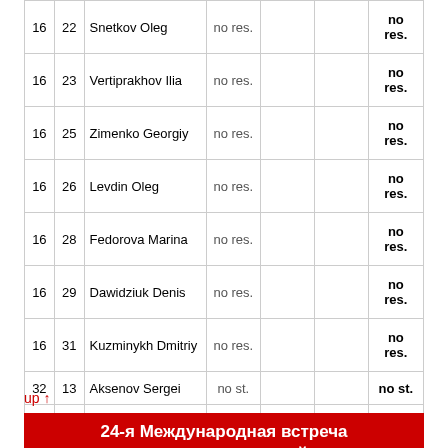|  |  | Name | Result1 | Result2 | Result3 | Total |
| --- | --- | --- | --- | --- | --- | --- |
| 16 | 22 | Snetkov Oleg | no res. |  |  | no res. |
| 16 | 23 | Vertiprakhov Ilia | no res. |  |  | no res. |
| 16 | 25 | Zimenko Georgiy | no res. |  |  | no res. |
| 16 | 26 | Levdin Oleg | no res. |  |  | no res. |
| 16 | 28 | Fedorova Marina | no res. |  |  | no res. |
| 16 | 29 | Dawidziuk Denis | no res. |  |  | no res. |
| 16 | 31 | Kuzminykh Dmitriy | no res. |  |  | no res. |
| 32 | 13 | Aksenov Sergei | no st. |  |  | no st. |
| 32 | 32 | Nasonova Diana | no st. |  |  | no st. |
up ↑
24-я Международная встреча воздухоплавателей